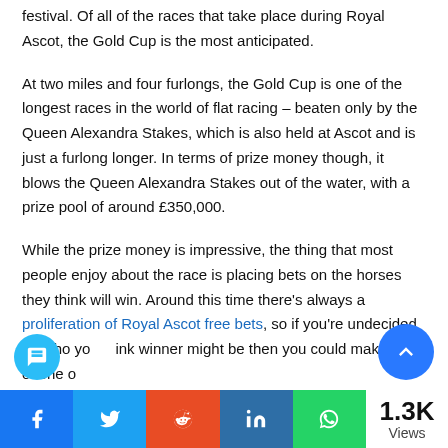festival. Of all of the races that take place during Royal Ascot, the Gold Cup is the most anticipated.
At two miles and four furlongs, the Gold Cup is one of the longest races in the world of flat racing – beaten only by the Queen Alexandra Stakes, which is also held at Ascot and is just a furlong longer. In terms of prize money though, it blows the Queen Alexandra Stakes out of the water, with a prize pool of around £350,000.
While the prize money is impressive, the thing that most people enjoy about the race is placing bets on the horses they think will win. Around this time there's always a proliferation of Royal Ascot free bets, so if you're undecided on who you think winner might be then you could make use of one of
1.3K Views — Share buttons: Facebook, Twitter, Reddit, LinkedIn, WhatsApp